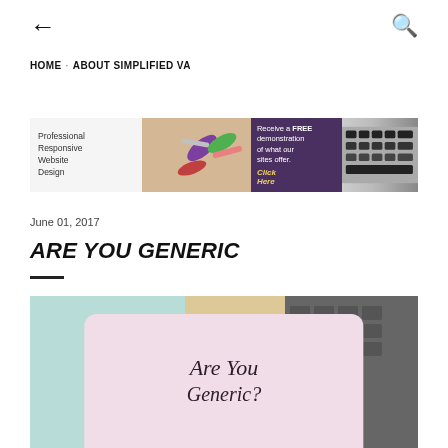← (back) and 🔍 (search) navigation icons
HOME · ABOUT SIMPLIFIED VA
[Figure (photo): Banner advertisement for professional responsive website design. Left side shows stationery and paper clips. Right side has purple/dark background reading 'Receive a FREE demonstration of what our sites offer. Click Here.' with keyboard keys visible.]
June 01, 2017
ARE YOU GENERIC
[Figure (photo): Hero image with mint/teal background on left, makeup items and keyboard on right, with a pink rounded card overlay containing cursive text reading 'Are You Generic?']